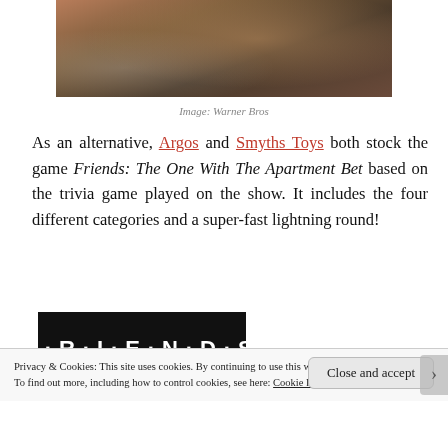[Figure (photo): Scene from Friends TV show, people sitting in an apartment living room]
Image: Warner Bros
As an alternative, Argos and Smyths Toys both stock the game Friends: The One With The Apartment Bet based on the trivia game played on the show. It includes the four different categories and a super-fast lightning round!
[Figure (photo): Friends: The Television Series board game box with Friends logo on black background and colored tiles]
Privacy & Cookies: This site uses cookies. By continuing to use this website, you agree to their use.
To find out more, including how to control cookies, see here: Cookie Policy